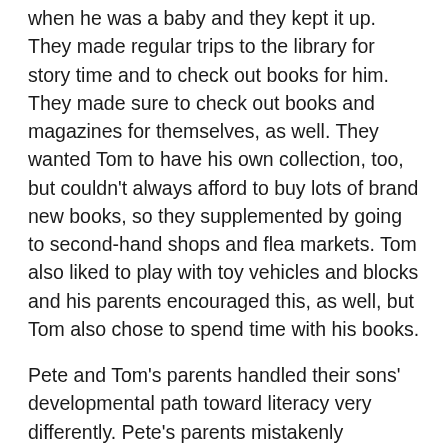when he was a baby and they kept it up. They made regular trips to the library for story time and to check out books for him. They made sure to check out books and magazines for themselves, as well. They wanted Tom to have his own collection, too, but couldn't always afford to buy lots of brand new books, so they supplemented by going to second-hand shops and flea markets. Tom also liked to play with toy vehicles and blocks and his parents encouraged this, as well, but Tom also chose to spend time with his books.
Pete and Tom's parents handled their sons' developmental path toward literacy very differently. Pete's parents mistakenly believed this meant learning to read once a child enters school. However, Tom's parents are more in touch with knowing that to be successful at that point hinges on a strong foundation laid down earlier. This foundation is based both on exposure to print and for one's parents/caregivers to value reading. Pete can become a good reader, but it will be a matter of him having very good instruction and perhaps tutoring.